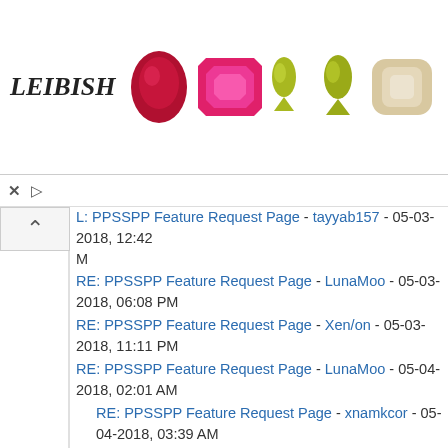[Figure (illustration): Leibish jewelry advertisement banner showing logo text and gemstone images (ruby oval, pink square emerald cut, two yellow-green pear shapes, beige cushion diamond, green emerald cushion)]
RE: PPSSPP Feature Request Page - tayyab157 - 05-03-2018, 12:42 M (partial, cut off at top)
RE: PPSSPP Feature Request Page - LunaMoo - 05-03-2018, 06:08 PM
RE: PPSSPP Feature Request Page - Xen/on - 05-03-2018, 11:11 PM
RE: PPSSPP Feature Request Page - LunaMoo - 05-04-2018, 02:01 AM
RE: PPSSPP Feature Request Page - xnamkcor - 05-04-2018, 03:39 AM
RE: PPSSPP Feature Request Page - LunaMoo - 05-04-2018, 12:33 PM
RE: PPSSPP Feature Request Page - xnamkcor - 05-04-2018, 12:56 PM
RE: PPSSPP Feature Request Page - [Unknown] - 05-04-2018, 01:17 PM
RE: PPSSPP Feature Request Page - xnamkcor - 05-04-2018, 03:12 PM
RE: PPSSPP Feature Request Page - Ultor - 05-31-2018, 03:04 PM
RE: PPSSPP Feature Request Page - LunaMoo - 05-31-2018, 04:53 PM